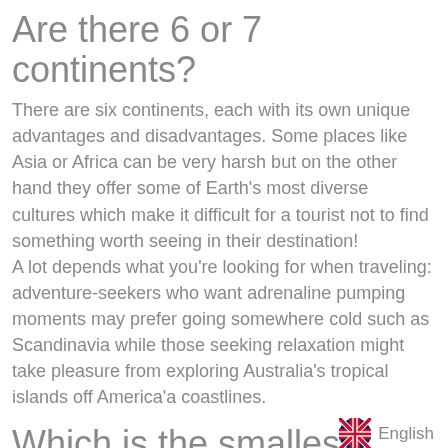Are there 6 or 7 continents?
There are six continents, each with its own unique advantages and disadvantages. Some places like Asia or Africa can be very harsh but on the other hand they offer some of Earth's most diverse cultures which make it difficult for a tourist not to find something worth seeing in their destination!
A lot depends what you're looking for when traveling: adventure-seekers who want adrenaline pumping moments may prefer going somewhere cold such as Scandinavia while those seeking relaxation might take pleasure from exploring Australia's tropical islands off America'a coastlines.
Which is the smallest country in this world?
[Figure (illustration): UK flag emoji followed by the word English in grey text, positioned at bottom right corner]